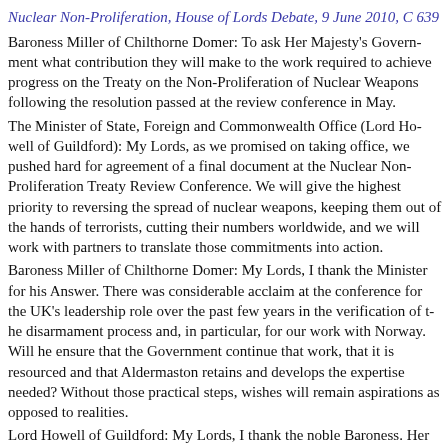Nuclear Non-Proliferation, House of Lords Debate, 9 June 2010, C 639
Baroness Miller of Chilthorne Domer: To ask Her Majesty's Government what contribution they will make to the work required to achieve progress on the Treaty on the Non-Proliferation of Nuclear Weapons following the resolution passed at the review conference in May.
The Minister of State, Foreign and Commonwealth Office (Lord Howell of Guildford): My Lords, as we promised on taking office, we pushed hard for agreement of a final document at the Nuclear Non-Proliferation Treaty Review Conference. We will give the highest priority to reversing the spread of nuclear weapons, keeping them out of the hands of terrorists, cutting their numbers worldwide, and we will work with partners to translate those commitments into action.
Baroness Miller of Chilthorne Domer: My Lords, I thank the Minister for his Answer. There was considerable acclaim at the conference for the UK's leadership role over the past few years in the verification of the disarmament process and, in particular, for our work with Norway. Will he ensure that the Government continue that work, that it is resourced and that Aldermaston retains and develops the expertise needed? Without those practical steps, wishes will remain aspirations as opposed to realities.
Lord Howell of Guildford: My Lords, I thank the noble Baroness. Her concern about and interest in these matters is second to none. At the review conference, it was felt that the treaty had been, thankfully, revitalised and a series of action plans and activities were agreed be